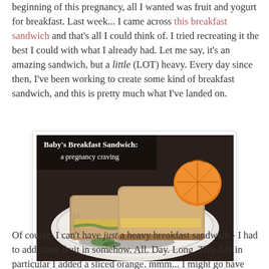beginning of this pregnancy, all I wanted was fruit and yogurt for breakfast. Last week... I came across this breakfast sandwich and that's all I could think of. I tried recreating it the best I could with what I already had. Let me say, it's an amazing sandwich, but a little (LOT) heavy. Every day since then, I've been working to create some kind of breakfast sandwich, and this is pretty much what I've landed on.
[Figure (photo): Photo of a breakfast sandwich cut in half on a white plate, with herbs and a sliced orange. Text overlay reads 'Baby's Breakfast Sandwich: a pregnancy craving'. Watermark 'A Cloth Life' visible.]
Of course, I can't have just a heavy breakfast sandwich - I had to add some fruit in somehow. All. Day. Long. This day in particular I added a sliced orange. mmm... I might go have